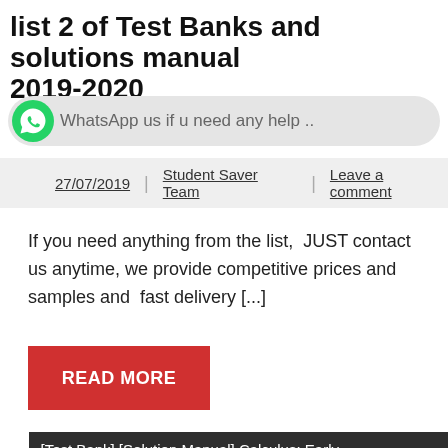list 2 of Test Banks and solutions manual 2019-2020
WhatsApp us if u need any help ..
27/07/2019 | Student Saver Team | Leave a comment
If you need anything from the list,  JUST contact us anytime, we provide competitive prices and samples and  fast delivery [...]
READ MORE
| [Test Bank] [Solution Manual] Calculus: Early Transcendental |
| --- |
| © 2019 | Test Bank and Solution Manual |
Solution Manual and Test Banks 2019